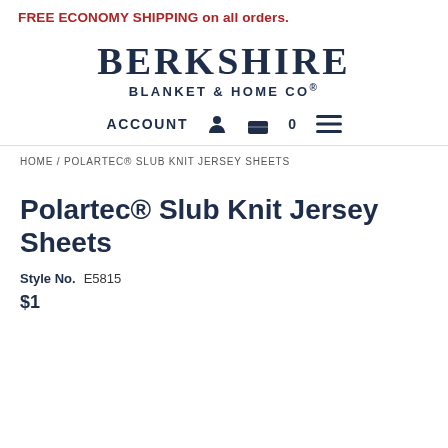FREE ECONOMY SHIPPING on all orders.
[Figure (logo): Berkshire Blanket & Home Co. logo — two-line serif text in dark navy]
ACCOUNT  0  ≡
HOME / POLARTEC® SLUB KNIT JERSEY SHEETS
Polartec® Slub Knit Jersey Sheets
Style No.  E5815
$100.00